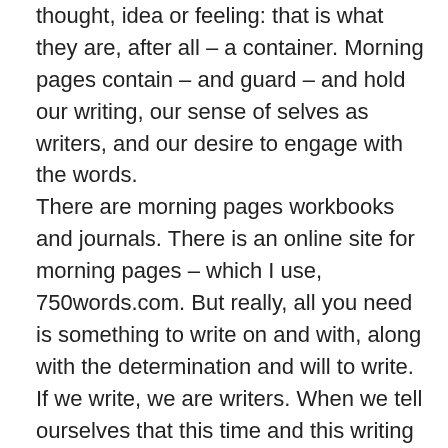thought, idea or feeling: that is what they are, after all – a container. Morning pages contain – and guard – and hold our writing, our sense of selves as writers, and our desire to engage with the words.
There are morning pages workbooks and journals.  There is an online site for morning pages – which I use, 750words.com.  But really, all you need is something to write on and with, along with the determination and will to write.  If we write, we are writers.  When we tell ourselves that this time and this writing matters, that we reach for our writing at the start of the day, we reinforce the idea that our life must align itself around this desire – this urge – to write.  And maybe the universe will follow.
Whether you're down or up, rushed or calm, so busy you can hardly see – morning pages are a fresh start – every day.  A new beginning, waiting for you.  I believe in their